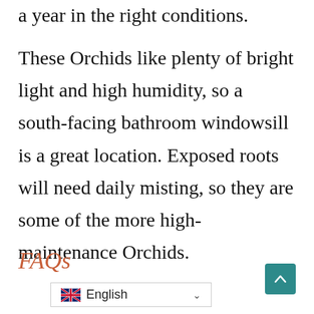a year in the right conditions.
These Orchids like plenty of bright light and high humidity, so a south-facing bathroom windowsill is a great location. Exposed roots will need daily misting, so they are some of the more high-maintenance Orchids.
FAQs